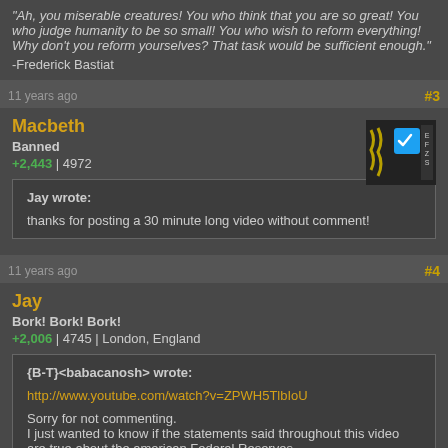"Ah, you miserable creatures! You who think that you are so great! You who judge humanity to be so small! You who wish to reform everything! Why don't you reform yourselves? That task would be sufficient enough."
-Frederick Bastiat
11 years ago   #3
Macbeth
Banned
+2,443 | 4972
Jay wrote:
thanks for posting a 30 minute long video without comment!
11 years ago   #4
Jay
Bork! Bork! Bork!
+2,006 | 4745 | London, England
{B-T}<babacanosh> wrote:
http://www.youtube.com/watch?v=ZPWH5TlbIoU
Sorry for not commenting.
I just wanted to know if the statements said throughout this video are true about the american Federal Reserves.